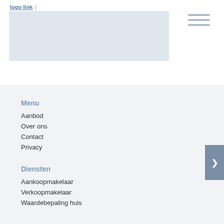logo link | navigation
[Figure (screenshot): Hero image placeholder area, light blue-grey rectangle]
[Figure (other): Hamburger menu icon with three horizontal lines]
Menu
Aanbod
Over ons
Contact
Privacy
Diensten
Aankoopmakelaar
Verkoopmakelaar
Waardebepaling huis